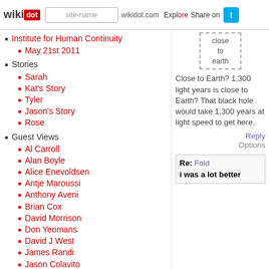wikidot | site-name .wikidot.com | Explore | Share on [Twitter]
Institute for Human Continuity
May 21st 2011
Stories
Sarah
Kat's Story
Tyler
Jason's Story
Rose
Guest Views
Al Carroll
Alan Boyle
Alice Enevoldsen
Antje Maroussi
Anthony Aveni
Brian Cox
David Morrison
Don Yeomans
David J West
James Randi
Jason Colavito
Jocelyn Bell Burnell
[Figure (other): Dashed box with text: close to earth]
Close to Earth? 1,300 light years is close to Earth? That black hole would take 1,300 years at light speed to get here.
Reply Options
Re: Fold i was a lot better